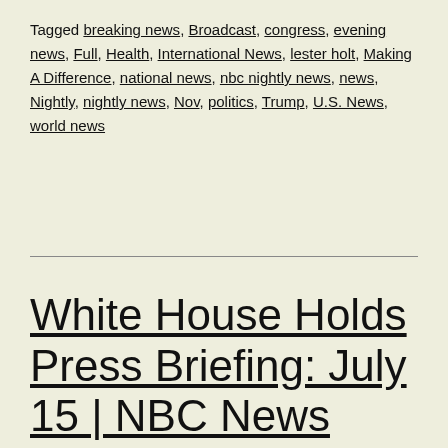Tagged breaking news, Broadcast, congress, evening news, Full, Health, International News, lester holt, Making A Difference, national news, nbc nightly news, news, Nightly, nightly news, Nov, politics, Trump, U.S. News, world news
White House Holds Press Briefing: July 15 | NBC News